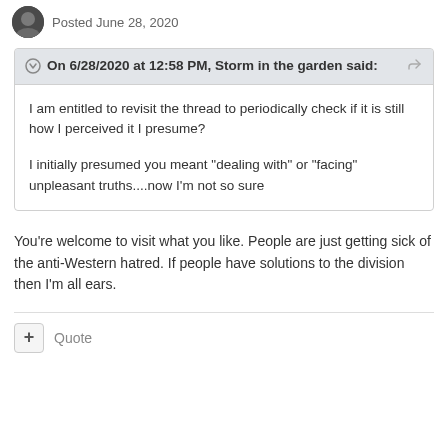Posted June 28, 2020
On 6/28/2020 at 12:58 PM, Storm in the garden said:
I am entitled to revisit the thread to periodically check if it is still how I perceived it I presume?
I initially presumed you meant "dealing with" or "facing" unpleasant truths....now I'm not so sure
You're welcome to visit what you like. People are just getting sick of the anti-Western hatred. If people have solutions to the division then I'm all ears.
Quote